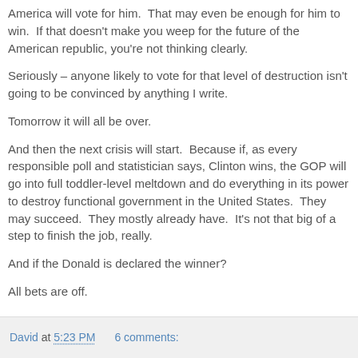America will vote for him.  That may even be enough for him to win.  If that doesn't make you weep for the future of the American republic, you're not thinking clearly.
Seriously – anyone likely to vote for that level of destruction isn't going to be convinced by anything I write.
Tomorrow it will all be over.
And then the next crisis will start.  Because if, as every responsible poll and statistician says, Clinton wins, the GOP will go into full toddler-level meltdown and do everything in its power to destroy functional government in the United States.  They may succeed.  They mostly already have.  It's not that big of a step to finish the job, really.
And if the Donald is declared the winner?
All bets are off.
David at 5:23 PM    6 comments: